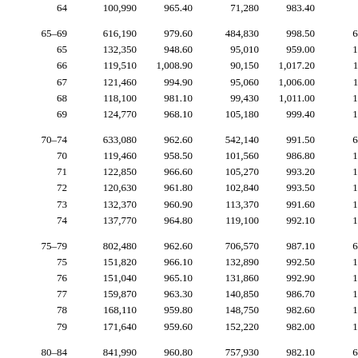| Age | Total Number | Total Rate | Female Number | Female Rate | Male Number |
| --- | --- | --- | --- | --- | --- |
| 64 | 100,990 | 965.40 | 71,280 | 983.40 | 9,030 |
| 65–69 | 616,190 | 979.60 | 484,830 | 998.50 | 62,520 |
| 65 | 132,350 | 948.60 | 95,010 | 959.00 | 14,090 |
| 66 | 119,510 | 1,008.90 | 90,150 | 1,017.20 | 11,190 |
| 67 | 121,460 | 994.90 | 95,060 | 1,006.00 | 11,980 |
| 68 | 118,100 | 981.10 | 99,430 | 1,011.00 | 12,080 |
| 69 | 124,770 | 968.10 | 105,180 | 999.40 | 13,180 |
| 70–74 | 633,080 | 962.60 | 542,140 | 991.50 | 65,280 |
| 70 | 119,460 | 958.50 | 101,560 | 986.80 | 12,630 |
| 71 | 122,850 | 966.60 | 105,270 | 993.20 | 12,650 |
| 72 | 120,630 | 961.80 | 102,840 | 993.50 | 12,500 |
| 73 | 132,370 | 960.90 | 113,370 | 991.60 | 13,690 |
| 74 | 137,770 | 964.80 | 119,100 | 992.10 | 13,810 |
| 75–79 | 802,480 | 962.60 | 706,570 | 987.10 | 69,910 |
| 75 | 151,820 | 966.10 | 132,890 | 992.50 | 13,720 |
| 76 | 151,040 | 965.10 | 131,860 | 992.90 | 13,790 |
| 77 | 159,870 | 963.30 | 140,850 | 986.70 | 14,050 |
| 78 | 168,110 | 959.80 | 148,750 | 982.60 | 14,120 |
| 79 | 171,640 | 959.60 | 152,220 | 982.00 | 14,230 |
| 80–84 | 841,990 | 960.80 | 757,930 | 982.10 | 61,870 |